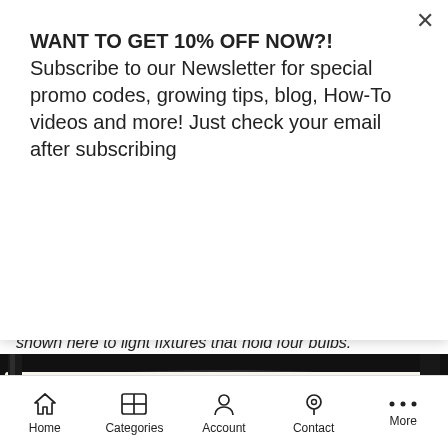WANT TO GET 10% OFF NOW?! Subscribe to our Newsletter for special promo codes, growing tips, blog, How-To videos and more! Just check your email after subscribing
Subscribe
shown here to light fixtures that hold four bulbs.
[Figure (photo): Indoor plant growing rack with shelves holding seedlings under fluorescent grow lights. Lush green grass-like seedlings on the left shelf and taller leafy seedlings on the right, with a black metal wire shelving unit and grow lights mounted overhead.]
Home | Categories | Account | Contact | More